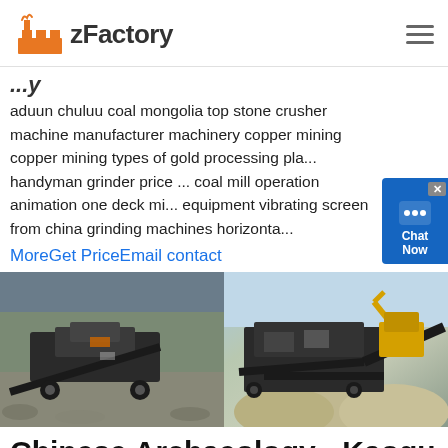zFactory
aduun chuluu coal mongolia top stone crusher machine manufacturer machinery copper mining copper mining types of gold processing pla... handyman grinder price ... coal mill operation animation one deck mi... equipment vibrating screen from china grinding machines horizonta...
MoreGet PriceEmail contact
[Figure (photo): Two photos of stone crushing machinery at mining sites outdoors]
Chinese Archaeology - Kaogu
2018-6-25   The Aduun Chuluu Site and Cemetery of early Bronze Age in Wenquan (Arixang) County, Xinjiang: 2017-07-17: Adunqiaolu:New Evidence for the Andronovo in Xinjiang,China: 2017-06-23: On the Kele Culture: 2016-10-26: The Chang mo Grottoes in Dinggye County Tibet: 2016-